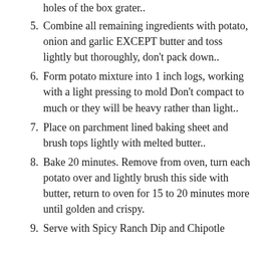holes of the box grater..
5. Combine all remaining ingredients with potato, onion and garlic EXCEPT butter and toss lightly but thoroughly, don't pack down..
6. Form potato mixture into 1 inch logs, working with a light pressing to mold Don't compact to much or they will be heavy rather than light..
7. Place on parchment lined baking sheet and brush tops lightly with melted butter..
8. Bake 20 minutes. Remove from oven, turn each potato over and lightly brush this side with butter, return to oven for 15 to 20 minutes more until golden and crispy.
9. Serve with Spicy Ranch Dip and Chipotle